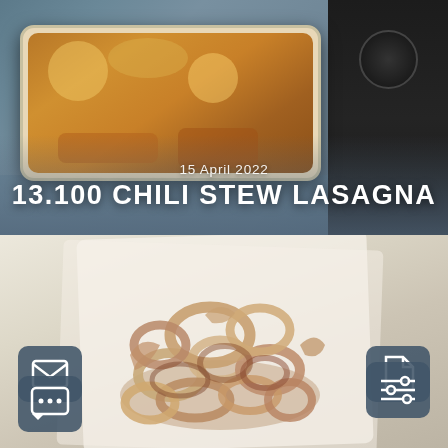[Figure (photo): Top-down photo of a baked lasagna dish (chili stew lasagna) in a white baking pan with golden-brown cheesy top, next to a black kitchen appliance]
15 April 2022
13.100 CHILI STEW LASAGNA
[Figure (photo): Photo of fried calamari rings / squid rings piled on white paper towels, seasoned with spices]
[Figure (infographic): UI overlay icons: mail envelope icon, document/file icon, settings sliders icon, chat bubble icon]